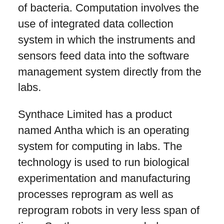of bacteria. Computation involves the use of integrated data collection system in which the instruments and sensors feed data into the software management system directly from the labs.
Synthace Limited has a product named Antha which is an operating system for computing in labs. The technology is used to run biological experimentation and manufacturing processes reprogram as well as reprogram robots in very less span of time. Synthace was awarded as Technology Pioneer by World Economic Forum in June 2016.
Global Nanobots Market - Segmentation
Global Nanobots market has been segmented on the basis of type of nanorobots which includes